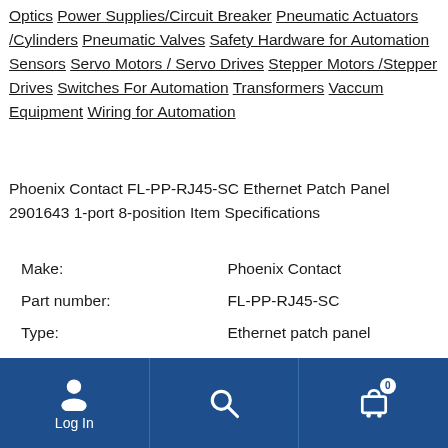Optics Power Supplies/Circuit Breaker Pneumatic Actuators /Cylinders Pneumatic Valves Safety Hardware for Automation Sensors Servo Motors / Servo Drives Stepper Motors /Stepper Drives Switches For Automation Transformers Vaccum Equipment Wiring for Automation
Phoenix Contact FL-PP-RJ45-SC Ethernet Patch Panel 2901643 1-port 8-position Item Specifications
| Make: | Phoenix Contact |
| Part number: | FL-PP-RJ45-SC |
| Type: | Ethernet patch panel |
| Ports: | 1-port, 8-position |
Description
Log In | Search | Cart (0)